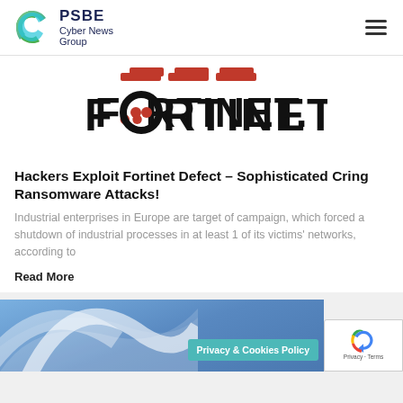PSBE Cyber News Group
[Figure (logo): Fortinet logo with red dots and lettering on white background]
Hackers Exploit Fortinet Defect – Sophisticated Cring Ransomware Attacks!
Industrial enterprises in Europe are target of campaign, which forced a shutdown of industrial processes in at least 1 of its victims' networks, according to
Read More
[Figure (screenshot): Partial bottom image strip with blue background and white swirl graphic, Privacy & Cookies Policy badge, and reCAPTCHA widget]